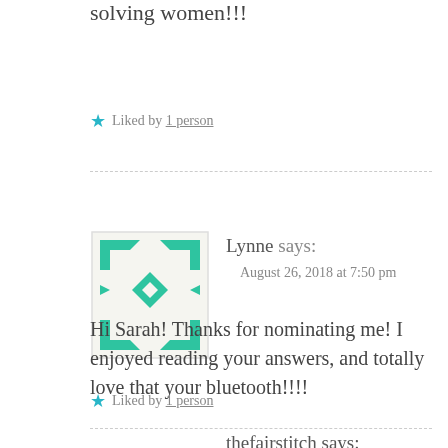solving women!!!
★ Liked by 1 person
Lynne says:
August 26, 2018 at 7:50 pm
Hi Sarah! Thanks for nominating me! I enjoyed reading your answers, and totally love that your bluetooth!!!!
★ Liked by 1 person
thefairstitch says: